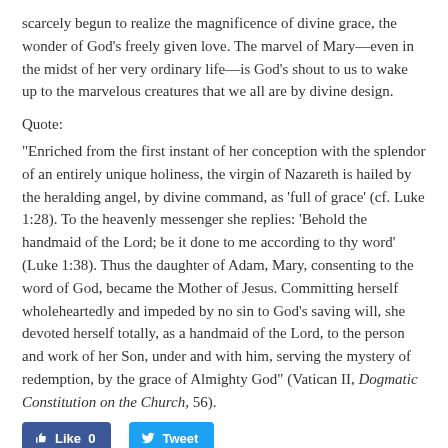scarcely begun to realize the magnificence of divine grace, the wonder of God's freely given love. The marvel of Mary—even in the midst of her very ordinary life—is God's shout to us to wake up to the marvelous creatures that we all are by divine design.
Quote:
“Enriched from the first instant of her conception with the splendor of an entirely unique holiness, the virgin of Nazareth is hailed by the heralding angel, by divine command, as ‘full of grace’ (cf. Luke 1:28). To the heavenly messenger she replies: ‘Behold the handmaid of the Lord; be it done to me according to thy word’ (Luke 1:38). Thus the daughter of Adam, Mary, consenting to the word of God, became the Mother of Jesus. Committing herself wholeheartedly and impeded by no sin to God’s saving will, she devoted herself totally, as a handmaid of the Lord, to the person and work of her Son, under and with him, serving the mystery of redemption, by the grace of Almighty God” (Vatican II, Dogmatic Constitution on the Church, 56).
[Figure (other): Social sharing buttons: a Facebook 'Like 0' button and a Twitter 'Tweet' button]